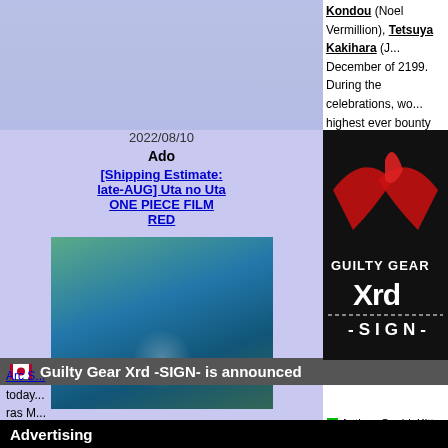Kondou (Noel Vermillion), Tetsuya Kakihara (J... December of 2199. During the celebrations, wo... highest ever bounty on his head, has appeared ... system controlling the world. To collect the bounty,...
Author: SophieKitty   More info...   Perm...
Guilty Gear Xrd -SIGN- is announced
[Figure (photo): Guilty Gear Xrd -SIGN- logo on dark background with red phoenix/dragon wings and chain imagery]
Arc S... today... ras M... by Da... open... now,...
Author: SophieKitty   More info...   Perm...
Arc System Works Festival 2013
[Figure (screenshot): Partial image at bottom, Arc System Works Festival 2013]
Arc ...
2022/08/10
Ado
[Shipping Estimate: late-AUG] Uta no Uta ONE PIECE FILM RED
[Figure (photo): Album art for Ado - Uta no Uta ONE PIECE FILM RED, showing ocean scene with islands]
2022/09/21
BAND-MAID
Unleash
See more
cdjapan.co.jp
Advertising